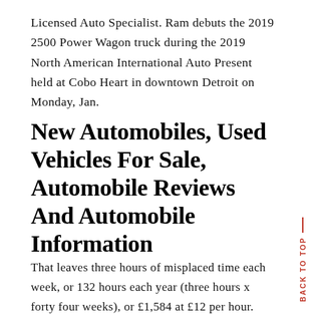Licensed Auto Specialist. Ram debuts the 2019 2500 Power Wagon truck during the 2019 North American International Auto Present held at Cobo Heart in downtown Detroit on Monday, Jan.
New Automobiles, Used Vehicles For Sale, Automobile Reviews And Automobile Information
That leaves three hours of misplaced time each week, or 132 hours each year (three hours x forty four weeks), or £1,584 at £12 per hour. Most states require that a repair shop give an estimate in writing.